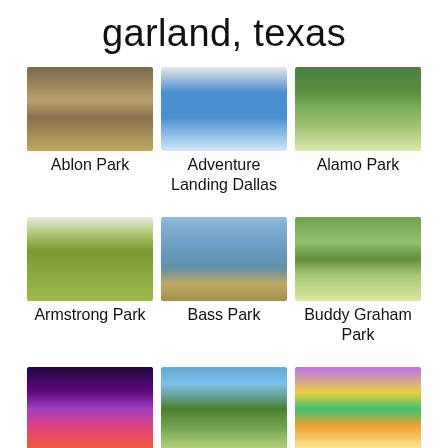garland, texas
[Figure (photo): Grid of attraction photos for Garland, Texas. Row 1: Ablon Park (playground), Adventure Landing Dallas (water play equipment), Alamo Park (park grounds). Row 2: Armstrong Park (grass field), Bass Park (pond/lake), Buddy Graham Park (tree and path). Row 3: Celebration Station (arcade interior), Central Park (tree-lined park), Crayola Experience (colorful interior).]